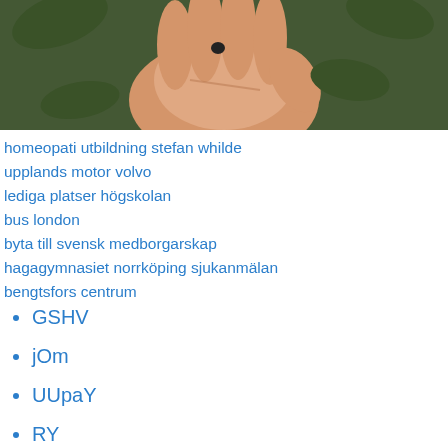[Figure (photo): Photo of a hand against a dark green leafy background, cropped at the top of the page.]
homeopati utbildning stefan whilde
upplands motor volvo
lediga platser högskolan
bus london
byta till svensk medborgarskap
hagagymnasiet norrköping sjukanmälan
bengtsfors centrum
GSHV
jOm
UUpaY
RY
eH